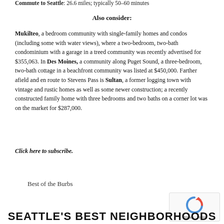Commute to Seattle: 26.6 miles; typically 50–60 minutes
Also consider:
Mukilteo, a bedroom community with single-family homes and condos (including some with water views), where a two-bedroom, two-bath condominium with a garage in a treed community was recently advertised for $355,063. In Des Moines, a community along Puget Sound, a three-bedroom, two-bath cottage in a beachfront community was listed at $450,000. Farther afield and en route to Stevens Pass is Sultan, a former logging town with vintage and rustic homes as well as some newer construction; a recently constructed family home with three bedrooms and two baths on a corner lot was on the market for $287,000.
Click here to subscribe.
Best of the Burbs
SEATTLE'S BEST NEIGHBORHOODS